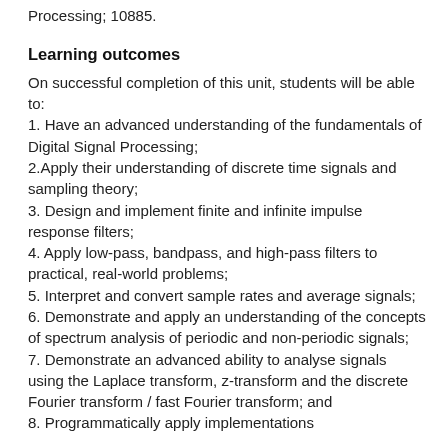Processing; 10885.
Learning outcomes
On successful completion of this unit, students will be able to:
1. Have an advanced understanding of the fundamentals of Digital Signal Processing;
2.Apply their understanding of discrete time signals and sampling theory;
3. Design and implement finite and infinite impulse response filters;
4. Apply low-pass, bandpass, and high-pass filters to practical, real-world problems;
5. Interpret and convert sample rates and average signals;
6. Demonstrate and apply an understanding of the concepts of spectrum analysis of periodic and non-periodic signals;
7. Demonstrate an advanced ability to analyse signals using the Laplace transform, z-transform and the discrete Fourier transform / fast Fourier transform; and
8. Programmatically apply implementations